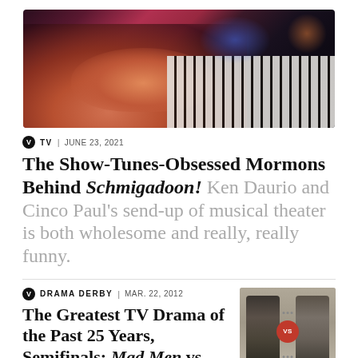[Figure (photo): Close-up photo of a person's hands playing piano keys under dramatic red and blue stage lighting]
TV | JUNE 23, 2021
The Show-Tunes-Obsessed Mormons Behind Schmigadoon! Ken Daurio and Cinco Paul's send-up of musical theater is both wholesome and really, really funny.
DRAMA DERBY | MAR. 22, 2012
The Greatest TV Drama of the Past 25 Years, Semifinals: Mad Men vs. The Wire AMC's boxer pitted against HBO's brawler.
[Figure (photo): Black and white image of two figures facing each other with a VS badge between them, in the style of a boxing match promotional image]